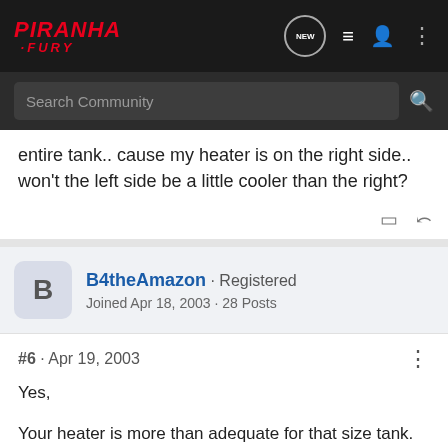PIRANHA FURY — navigation bar with search
entire tank.. cause my heater is on the right side.. won't the left side be a little cooler than the right?
B4theAmazon · Registered
Joined Apr 18, 2003 · 28 Posts
#6 · Apr 19, 2003
Yes,

Your heater is more than adequate for that size tank. The water will circulate w/ good filtration and the temp. will be dispersed